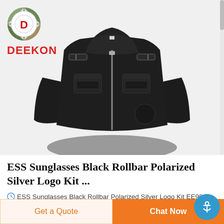[Figure (logo): DEEKON brand logo: camouflage circle with D letter in red, and DEEKON text in red below]
[Figure (photo): Black tactical/security jacket with zipper, chest pockets with velcro patches, and epaulettes on shoulders, displayed without a model]
ESS Sunglasses Black Rollbar Polarized Silver Logo Kit ...
ESS Sunglasses Black Rollbar Polarized Silver Logo Kit EE9018-04: Free UK Shipping on Orders Over £10 and Free 30-Day Returns on Selected Fashion Iten